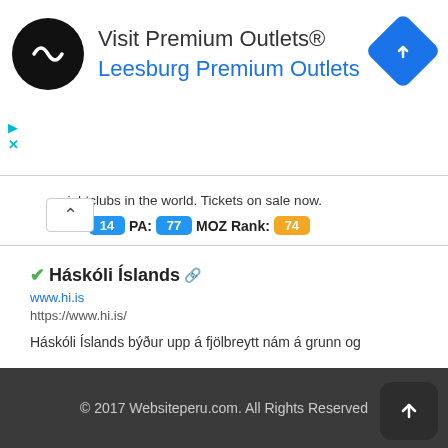[Figure (screenshot): Advertisement banner for Visit Premium Outlets® / Leesburg Premium Outlets with black circle logo and blue diamond navigation icon]
nightclubs in the world. Tickets on sale now.
DA: 14  PA: 77  MOZ Rank: 74
✔Háskóli Íslands 🔗
www.hi.is
https://www.hi.is/
Háskóli Íslands býður upp á fjölbreytt nám á grunn og framhaldsstigi. Lögð er áhersla á fræðilega nálgun og rannsóknatengt nám með góð tengsl við atvinnulíf og nýsköpun.
DA: 12  PA: 1  MOZ Rank: 84
© 2017 Websiteperu.com. All Rights Reserved